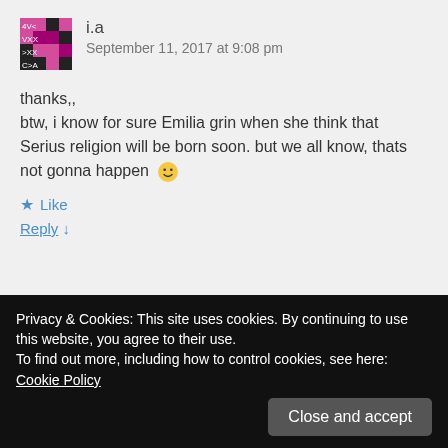[Figure (illustration): Pixelated/blocky avatar icon with pink/magenta and dark colors arranged in a grid pattern]
i.a
September 11, 2017 at 9:08 pm
thanks,,
btw, i know for sure Emilia grin when she think that Serius religion will be born soon. but we all know, thats not gonna happen 😀
★ Like
Reply ↓
Privacy & Cookies: This site uses cookies. By continuing to use this website, you agree to their use.
To find out more, including how to control cookies, see here: Cookie Policy
Close and accept
thanks,,